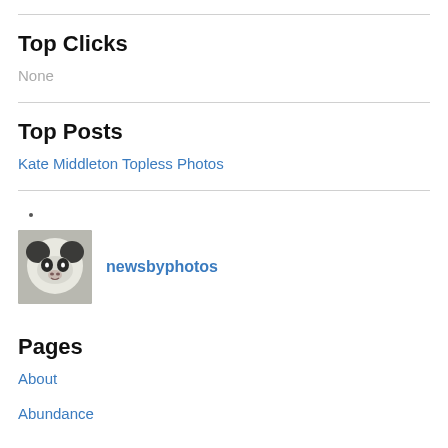Top Clicks
None
Top Posts
Kate Middleton Topless Photos
•
[Figure (photo): Thumbnail photo of a panda bear face next to the text 'newsbyphotos']
Pages
About
Abundance